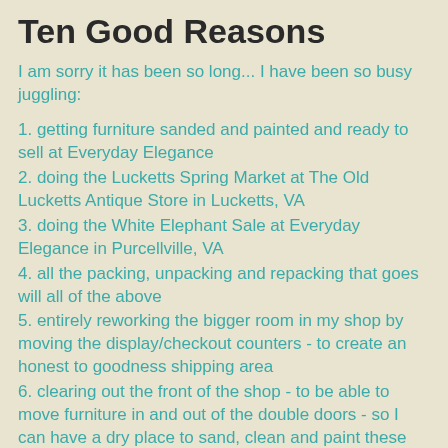Ten Good Reasons
I am sorry it has been so long... I have been so busy juggling:
1. getting furniture sanded and painted and ready to sell at Everyday Elegance
2. doing the Lucketts Spring Market at The Old Lucketts Antique Store in Lucketts, VA
3. doing the White Elephant Sale at Everyday Elegance in Purcellville, VA
4. all the packing, unpacking and repacking that goes will all of the above
5. entirely reworking the bigger room in my shop by moving the display/checkout counters - to create an honest to goodness shipping area
6. clearing out the front of the shop - to be able to move furniture in and out of the double doors - so I can have a dry place to sand, clean and paint these items
7. getting enough shallow shelving to accomodate all of the 'smalls' I sell on Etsy
8. unpacking, cleaning and displaying all of those 'smalls' on